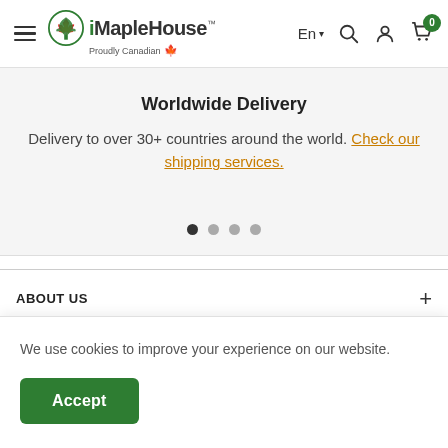iMapleHouse - Proudly Canadian | En | 0
Worldwide Delivery
Delivery to over 30+ countries around the world. Check our shipping services.
ABOUT US
INFORMATION
We use cookies to improve your experience on our website.